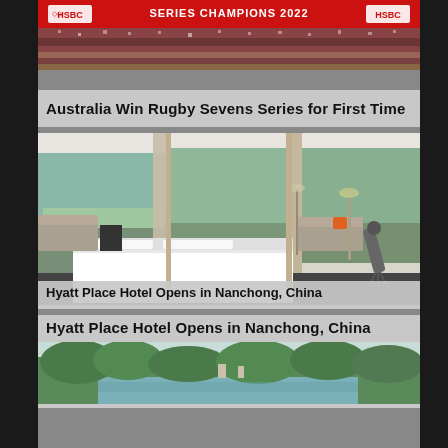[Figure (photo): Rugby Sevens Series Champions 2022 banner with HSBC branding and crowd in background]
Australia Win Rugby Sevens Series for First Time
[Figure (photo): Modern hotel room interior with floor-to-ceiling windows overlooking a city skyline and river, featuring a large bed, sofa, wall-mounted TV, and telescope on a tripod]
Hyatt Place Hotel Opens in Nanchong, China
[Figure (photo): Aerial view of a park or lake area with dense green trees and water visible]